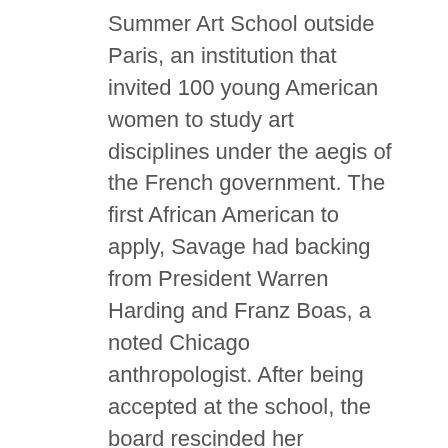Summer Art School outside Paris, an institution that invited 100 young American women to study art disciplines under the aegis of the French government. The first African American to apply, Savage had backing from President Warren Harding and Franz Boas, a noted Chicago anthropologist. After being accepted at the school, the board rescinded her invitation because she was black; this decision became a national cause celebre.  Savage was accused of “trying to pass as White.”³
Savage rebounded by continuing her work and advocacy for all African American artists. She associated with the 135th Street Library in